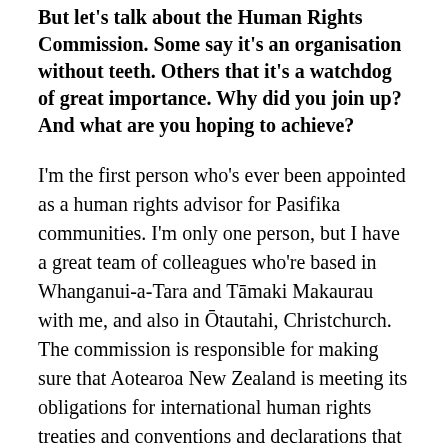But let's talk about the Human Rights Commission. Some say it's an organisation without teeth. Others that it's a watchdog of great importance. Why did you join up? And what are you hoping to achieve?
I'm the first person who's ever been appointed as a human rights advisor for Pasifika communities. I'm only one person, but I have a great team of colleagues who're based in Whanganui-a-Tara and Tāmaki Makaurau with me, and also in Ōtautahi, Christchurch. The commission is responsible for making sure that Aotearoa New Zealand is meeting its obligations for international human rights treaties and conventions and declarations that we've signed up to.